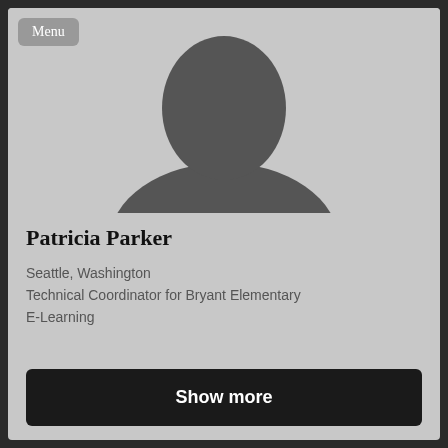[Figure (illustration): Gray silhouette of a person (head and shoulders) on a light gray background, representing a default profile photo placeholder.]
Menu
Patricia Parker
Seattle, Washington
Technical Coordinator for Bryant Elementary
E-Learning
Show more